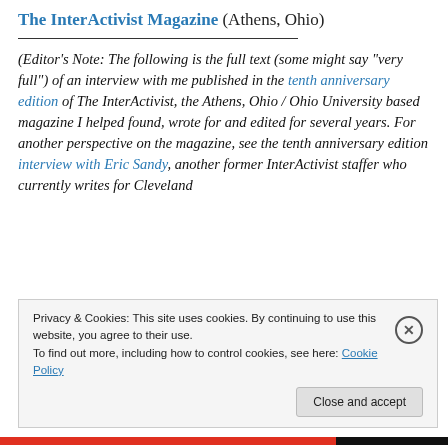The InterActivist Magazine (Athens, Ohio)
(Editor’s Note: The following is the full text (some might say “very full”) of an interview with me published in the tenth anniversary edition of The InterActivist, the Athens, Ohio / Ohio University based magazine I helped found, wrote for and edited for several years. For another perspective on the magazine, see the tenth anniversary edition interview with Eric Sandy, another former InterActivist staffer who currently writes for Cleveland
Privacy & Cookies: This site uses cookies. By continuing to use this website, you agree to their use.
To find out more, including how to control cookies, see here: Cookie Policy
Close and accept